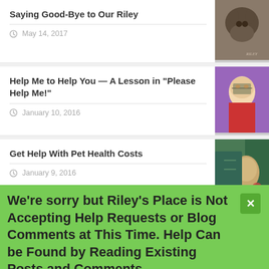Saying Good-Bye to Our Riley
May 14, 2017
Help Me to Help You — A Lesson in "Please Help Me!"
January 10, 2016
Get Help With Pet Health Costs
January 9, 2016
Nissa's Cancer – We've Gone Golden!
September 21, 2015
We're sorry but Riley's Place is Not Accepting Help Requests or Blog Comments at This Time. Help Can be Found by Reading Existing Posts and Comments.